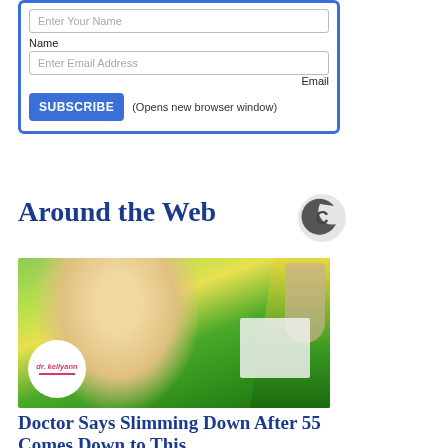[Figure (screenshot): Newsletter subscription form with Name and Email fields and a SUBSCRIBE button]
Around the Web
[Figure (logo): Circular logo with C shape]
[Figure (photo): Photo of blonde woman in green floral shirt seated in TV show setting with dr. kellyann logo overlay]
Doctor Says Slimming Down After 55 Comes Down to This